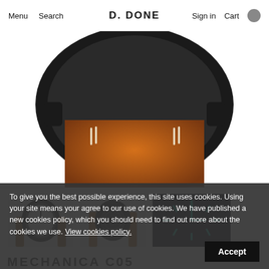Menu  Search  D. DONE  Sign in  Cart
[Figure (photo): Close-up of a watch strap — tan brown leather strap with white stitching details at the lugs, black watch case at top, on white background.]
[Figure (photo): Thumbnail: Front view of watch with white/silver dial, black case, tan leather strap.]
[Figure (photo): Thumbnail: Back view of watch showing caseback detail, black case, tan strap.]
[Figure (photo): Thumbnail: Dark background image showing luminous green watch hands/indices glowing.]
To give you the best possible experience, this site uses cookies. Using your site means your agree to our use of cookies. We have published a new cookies policy, which you should need to find out more about the cookies we use. View cookies policy.
MECHANICA C05